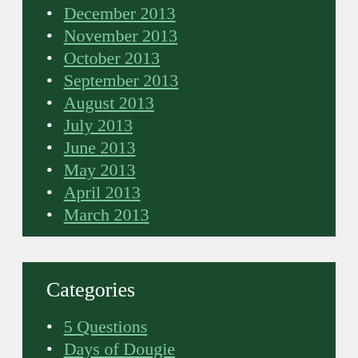November 2013
October 2013
September 2013
August 2013
July 2013
June 2013
May 2013
April 2013
March 2013
Categories
5 Questions
Days of Dougie